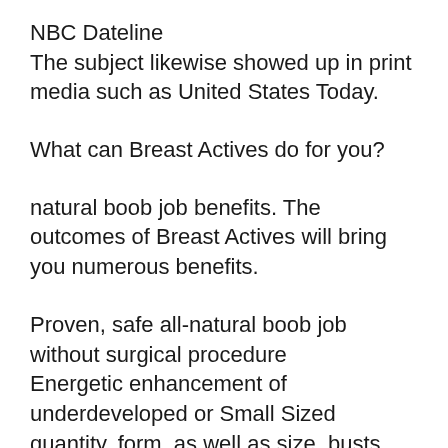NBC Dateline
The subject likewise showed up in print media such as United States Today.
What can Breast Actives do for you?
natural boob job benefits. The outcomes of Breast Actives will bring you numerous benefits.
Proven, safe all-natural boob job without surgical procedure
Energetic enhancement of underdeveloped or Small Sized quantity, form, as well as size. busts raised
Enhanced appearance, Sex-Appeal as well as positive self-image
You May Sign up to it in a manner after 60